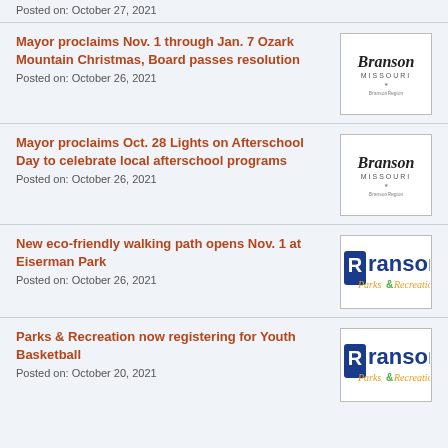Posted on: October 27, 2021
Mayor proclaims Nov. 1 through Jan. 7 Ozark Mountain Christmas, Board passes resolution
Posted on: October 26, 2021
Mayor proclaims Oct. 28 Lights on Afterschool Day to celebrate local afterschool programs
Posted on: October 26, 2021
New eco-friendly walking path opens Nov. 1 at Eiserman Park
Posted on: October 26, 2021
Parks & Recreation now registering for Youth Basketball
Posted on: October 20, 2021